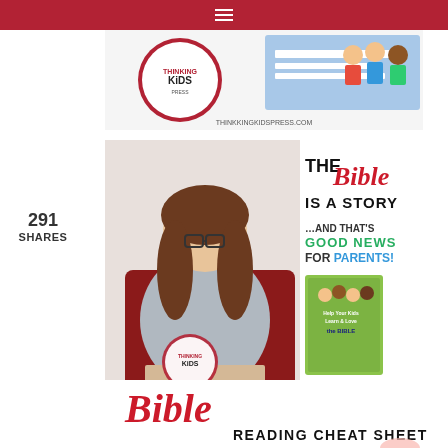[Figure (photo): Thinking Kids Press header with logo and children reading books illustration, thinkkingkidspress.com]
291 SHARES
[Figure (photo): The Bible Is A Story ...And That's Good News For Parents! - woman sitting in red chair holding open Bible with Thinking Kids logo overlay, and book cover for Help Your Kids Learn & Love the Bible, lovethebibleforkids.com]
[Figure (photo): Bible Reading Cheat Sheet - script Bible text in red with child hands visible at bottom]